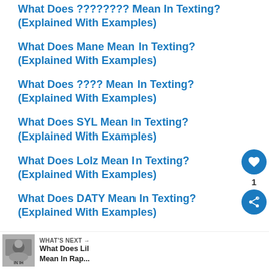What Does ???????? Mean In Texting? (Explained With Examples)
What Does Mane Mean In Texting? (Explained With Examples)
What Does ???? Mean In Texting? (Explained With Examples)
What Does SYL Mean In Texting? (Explained With Examples)
What Does Lolz Mean In Texting? (Explained With Examples)
What Does DATY Mean In Texting? (Explained With Examples)
WHAT'S NEXT → What Does Lil Mean In Rap...